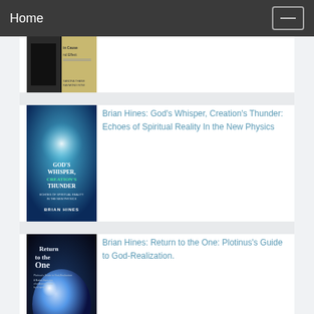Home
[Figure (photo): Partial book cover showing 'Cause and Effect' text, dark background]
[Figure (photo): Book cover: God's Whisper, Creation's Thunder by Brian Hines, blue background with light beams]
Brian Hines: God's Whisper, Creation's Thunder: Echoes of Spiritual Reality In the New Physics
[Figure (photo): Book cover: Return to the One by Brian Hines, dark blue background with glowing sphere]
Brian Hines: Return to the One: Plotinus's Guide to God-Realization.